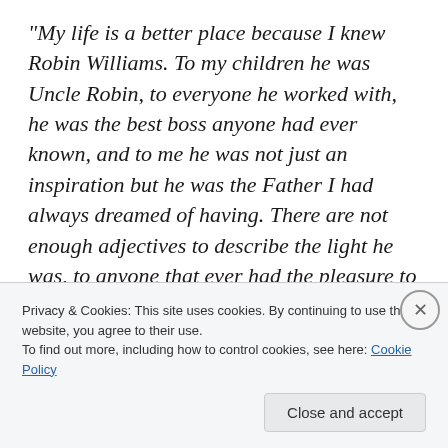“My life is a better place because I knew Robin Williams. To my children he was Uncle Robin, to everyone he worked with, he was the best boss anyone had ever known, and to me he was not just an inspiration but he was the Father I had always dreamed of having. There are not enough adjectives to describe the light he was, to anyone that ever had the pleasure to meet him. I will miss him everyday, but I know the memory of him will live on. And to his family, I thank them for letting us know him and seeing the joy they brought him. Us crazy ones love you.
Privacy & Cookies: This site uses cookies. By continuing to use this website, you agree to their use. To find out more, including how to control cookies, see here: Cookie Policy
Close and accept